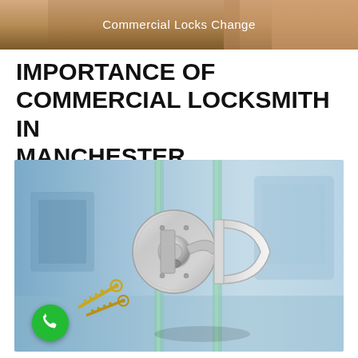[Figure (photo): Top banner image showing hands working on a commercial lock, with text overlay 'Commercial Locks Change' in white on a warm brown/tan background.]
IMPORTANCE OF COMMERCIAL LOCKSMITH IN MANCHESTER
[Figure (photo): Close-up photo of a chrome/stainless steel commercial glass door lock mechanism with keys inserted, mounted between two glass panels. Background shows a blurred office/commercial interior. A green phone badge is in the lower-left corner.]